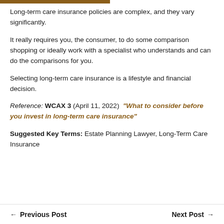Long-term care insurance policies are complex, and they vary significantly.
It really requires you, the consumer, to do some comparison shopping or ideally work with a specialist who understands and can do the comparisons for you.
Selecting long-term care insurance is a lifestyle and financial decision.
Reference: WCAX 3 (April 11, 2022)  "What to consider before you invest in long-term care insurance"
Suggested Key Terms: Estate Planning Lawyer, Long-Term Care Insurance
← Previous Post    Next Post →